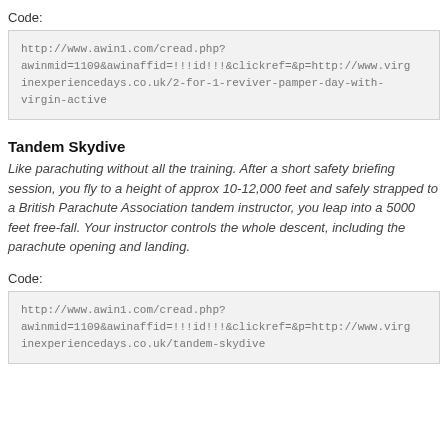Code:
http://www.awin1.com/cread.php?awinmid=1109&awinaffid=!!!id!!!&clickref=&p=http://www.virginexperiencedays.co.uk/2-for-1-reviver-pamper-day-with-virgin-active
Tandem Skydive
Like parachuting without all the training. After a short safety briefing session, you fly to a height of approx 10-12,000 feet and safely strapped to a British Parachute Association tandem instructor, you leap into a 5000 feet free-fall. Your instructor controls the whole descent, including the parachute opening and landing.
Code:
http://www.awin1.com/cread.php?awinmid=1109&awinaffid=!!!id!!!&clickref=&p=http://www.virginexperiencedays.co.uk/tandem-skydive